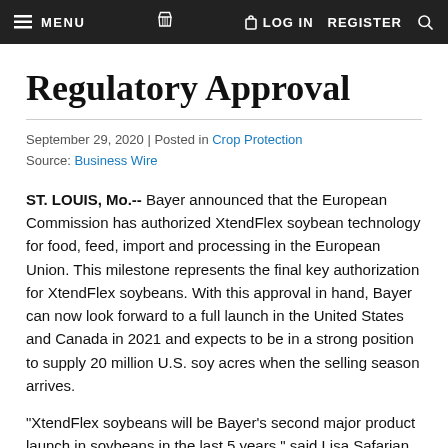MENU  [cart icon]  LOG IN  REGISTER  [search icon]
Regulatory Approval
September 29, 2020 | Posted in Crop Protection
Source: Business Wire
ST. LOUIS, Mo.-- Bayer announced that the European Commission has authorized XtendFlex soybean technology for food, feed, import and processing in the European Union. This milestone represents the final key authorization for XtendFlex soybeans. With this approval in hand, Bayer can now look forward to a full launch in the United States and Canada in 2021 and expects to be in a strong position to supply 20 million U.S. soy acres when the selling season arrives.
"XtendFlex soybeans will be Bayer's second major product launch in soybeans in the last 5 years," said Lisa Safarian, President of Crop Science North America. "The upcoming launch in 2021 highlights the strength of the Bayer soybean pipeline, as well as